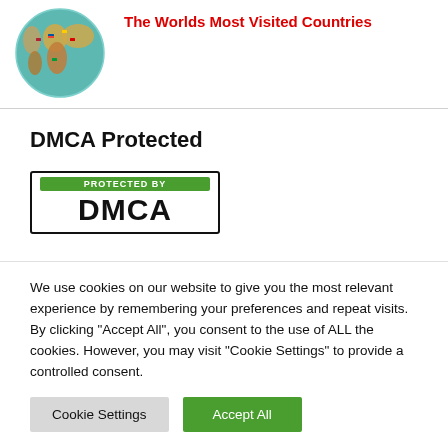[Figure (map): Globe/world map showing countries with colored flags and country highlights, used as thumbnail for article about world's most visited countries]
The Worlds Most Visited Countries
DMCA Protected
[Figure (logo): DMCA Protected By badge with green header bar and bold DMCA text in a black border box]
We use cookies on our website to give you the most relevant experience by remembering your preferences and repeat visits. By clicking "Accept All", you consent to the use of ALL the cookies. However, you may visit "Cookie Settings" to provide a controlled consent.